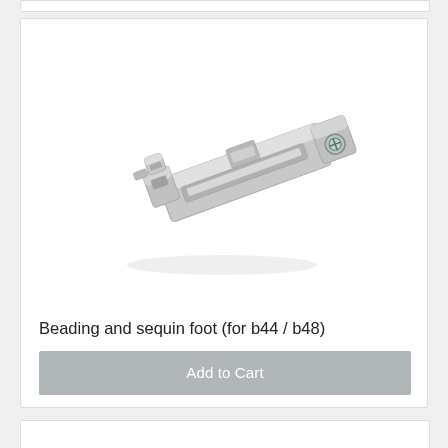[Figure (photo): A metallic beading and sequin presser foot for sewing machines, silver/chrome colored, elongated with clips and a screw, photographed on white background at an angle]
Beading and sequin foot (for b44 / b48)
$65.00
Add to Cart